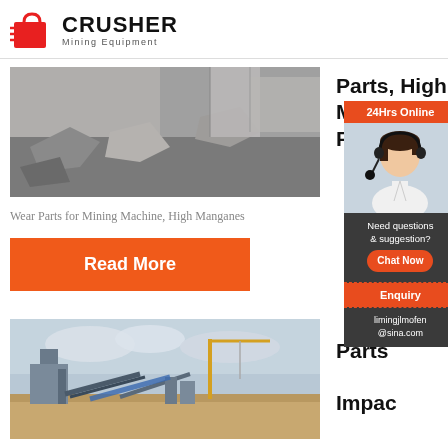[Figure (logo): Crusher Mining Equipment logo with red shopping bag icon and bold black CRUSHER text, Mining Equipment subtitle]
[Figure (photo): Close-up photo of crushed rocks and stone aggregate from mining/crushing operation]
Parts, High Manganese Parts ...
Wear Parts for Mining Machine, High Manganese
Read More
[Figure (photo): Industrial mining plant with conveyor belts, towers and yellow crane against cloudy sky]
Parts Impact Crusher Zhejiang
[Figure (infographic): 24Hrs Online sidebar widget with female customer service agent wearing headset, Need questions & suggestion text, Chat Now button, Enquiry section, limingjlmofen@sina.com email]